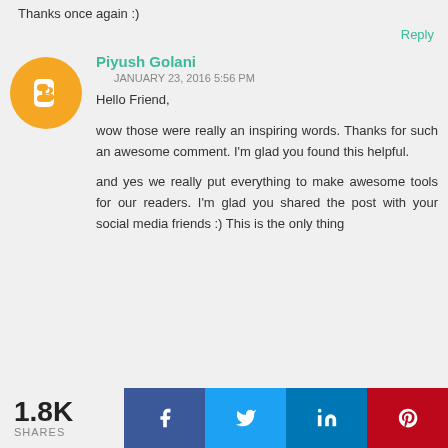Thanks once again :)
Reply
Piyush Golani
JANUARY 23, 2016 5:56 PM
Hello Friend,

wow those were really an inspiring words. Thanks for such an awesome comment. I'm glad you found this helpful.

and yes we really put everything to make awesome tools for our readers. I'm glad you shared the post with your social media friends :) This is the only thing
1.8K SHARES